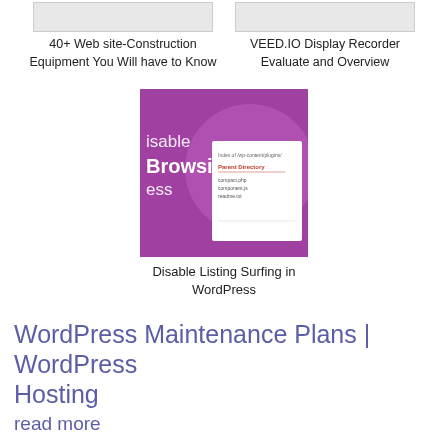[Figure (screenshot): Thumbnail screenshot of a website construction equipment article]
40+ Web site-Construction Equipment You Will have to Know
[Figure (screenshot): Thumbnail screenshot of VEED.IO Display Recorder article]
VEED.IO Display Recorder Evaluate and Overview
[Figure (screenshot): Featured image for Disable Listing Surfing in WordPress article, showing purple background with text 'disable Browsing' and a directory listing overlay]
Disable Listing Surfing in WordPress
WordPress Maintenance Plans | WordPress Hosting
read more